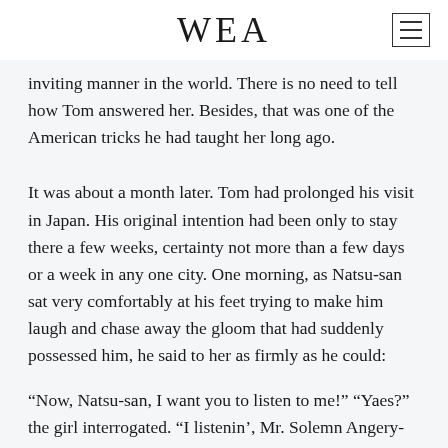WEA
inviting manner in the world. There is no need to tell how Tom answered her. Besides, that was one of the American tricks he had taught her long ago.
It was about a month later. Tom had prolonged his visit in Japan. His original intention had been only to stay there a few weeks, certainty not more than a few days or a week in any one city. One morning, as Natsu-san sat very comfortably at his feet trying to make him laugh and chase away the gloom that had suddenly possessed him, he said to her as firmly as he could:
“Now, Natsu-san, I want you to listen to me!” “Yaes?” the girl interrogated. “I listenin’, Mr. Solemn Angery-patch.” She meant “Crosspatch.”